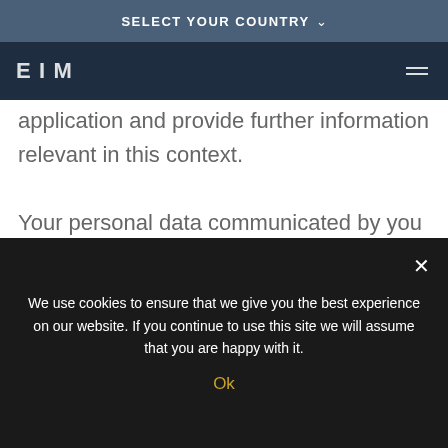SELECT YOUR COUNTRY ∨
[Figure (logo): EIM logo in white text on dark navy header bar]
application and provide further information relevant in this context.

Your personal data communicated by you to EIM EXECUTIVE INTERIM MANAGEMENT CEE s.r.o. as described above (in particular name, address, telephone numbers, e-mail address and details on your
We use cookies to ensure that we give you the best experience on our website. If you continue to use this site we will assume that you are happy with it.
Ok